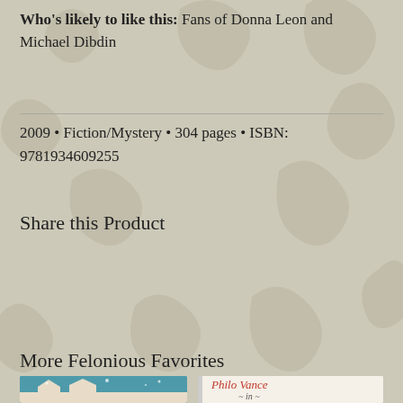Who's likely to like this: Fans of Donna Leon and Michael Dibdin
2009 • Fiction/Mystery • 304 pages • ISBN: 9781934609255
Share this Product
[Figure (other): Social sharing buttons: Share (Facebook), Tweet (Twitter), Pin it (Pinterest), Fancy, and Google +1]
More Felonious Favorites
[Figure (photo): Book cover showing a winter village scene with snow-covered houses]
[Figure (photo): Book cover showing 'Philo Vance in...' text in red on light background]